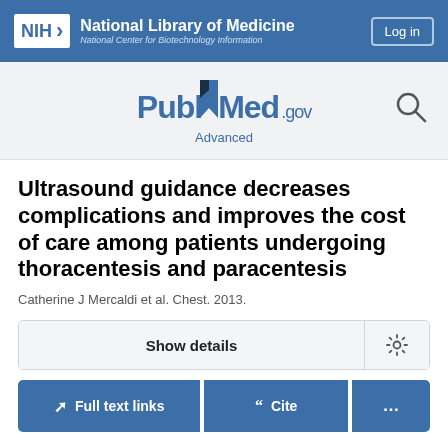[Figure (logo): NIH National Library of Medicine / National Center for Biotechnology Information header logo with Log in button]
[Figure (logo): PubMed.gov logo with search icon and Advanced link]
Ultrasound guidance decreases complications and improves the cost of care among patients undergoing thoracentesis and paracentesis
Catherine J Mercaldi et al. Chest. 2013.
Show details
Full text links
Cite